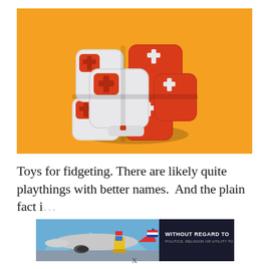[Figure (photo): A fidget cube toy made of interlocking red and white rounded blocks with cross-shaped connectors, photographed on a bright orange background.]
Toys for fidgeting. There are likely quite playthings with better names.  And the plain fact i...
[Figure (photo): Advertisement banner showing an airplane being loaded with cargo at an airport, with text overlay reading 'WITHOUT REGARD TO POLITICS, RELIGION OR UTILITY TO HIM'.]
X